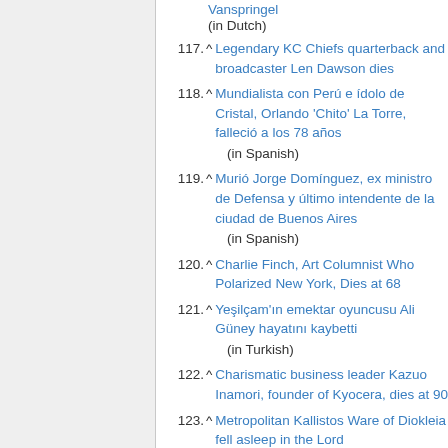Vanspringel (in Dutch)
117. ^ Legendary KC Chiefs quarterback and broadcaster Len Dawson dies
118. ^ Mundialista con Perú e ídolo de Cristal, Orlando 'Chito' La Torre, falleció a los 78 años (in Spanish)
119. ^ Murió Jorge Domínguez, ex ministro de Defensa y último intendente de la ciudad de Buenos Aires (in Spanish)
120. ^ Charlie Finch, Art Columnist Who Polarized New York, Dies at 68
121. ^ Yeşilçam'ın emektar oyuncusu Ali Güney hayatını kaybetti (in Turkish)
122. ^ Charismatic business leader Kazuo Inamori, founder of Kyocera, dies at 90
123. ^ Metropolitan Kallistos Ware of Diokleia fell asleep in the Lord
124. ^ Paul Knox
125. ^ Скончался бывший губернатор